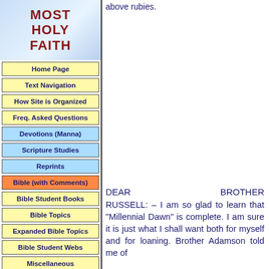MOST HOLY FAITH
Home Page
Text Navigation
How Site is Organized
Freq. Asked Questions
Devotions (Manna)
Scripture Studies
Reprints
Bible (with Comments)
Bible Student Books
Bible Topics
Expanded Bible Topics
Bible Student Webs
Miscellaneous
above rubies.
DEAR BROTHER RUSSELL: – I am so glad to learn that "Millennial Dawn" is complete. I am sure it is just what I shall want both for myself and for loaning. Brother Adamson told me of